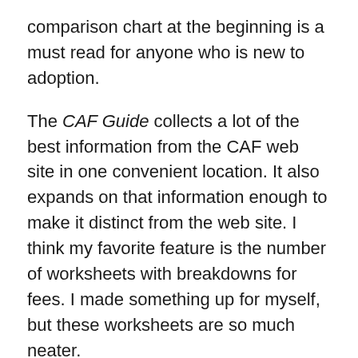comparison chart at the beginning is a must read for anyone who is new to adoption.
The CAF Guide collects a lot of the best information from the CAF web site in one convenient location. It also expands on that information enough to make it distinct from the web site. I think my favorite feature is the number of worksheets with breakdowns for fees. I made something up for myself, but these worksheets are so much neater.
I feel compelled to mention that I am quoted twice in the guide. Dawn Davenport solicited information and advice from parents, as well as adoption professionals, which I think is a great way to create up-to-date, practical, informative content.
The CAF Guide is a must read...